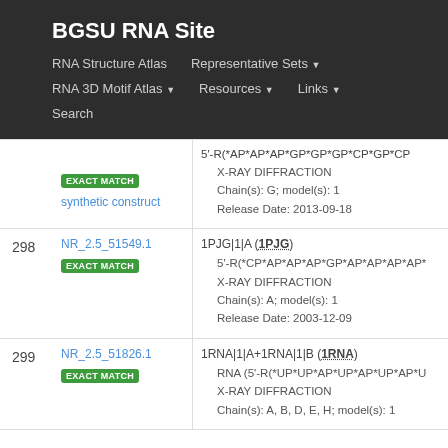BGSU RNA Site
RNA Structure Atlas | Representative Sets | RNA 3D Motif Atlas | Resources | Links | Search
| # | ID | Details |
| --- | --- | --- |
|  | NR_2.5_51549.1 EXACT MATCH synthetic construct | 1PJG|1|A (1PJG)
5'-R(*CP*AP*AP*AP*GP*AP*AP*AP*AP*
X-RAY DIFFRACTION
Chain(s): A; model(s): 1
Release Date: 2003-12-09 |
| 298 | NR_2.5_51549.1 EXACT MATCH | 1PJG|1|A (1PJG)
5'-R(*CP*AP*AP*AP*GP*AP*AP*AP*AP*
X-RAY DIFFRACTION
Chain(s): A; model(s): 1
Release Date: 2003-12-09 |
| 299 | NR_2.5_51826.1 EXACT MATCH | 1RNA|1|A+1RNA|1|B (1RNA)
RNA (5'-R(*UP*UP*AP*UP*AP*UP*AP*U
X-RAY DIFFRACTION
Chain(s): A, B, D, E, H; model(s): 1 |